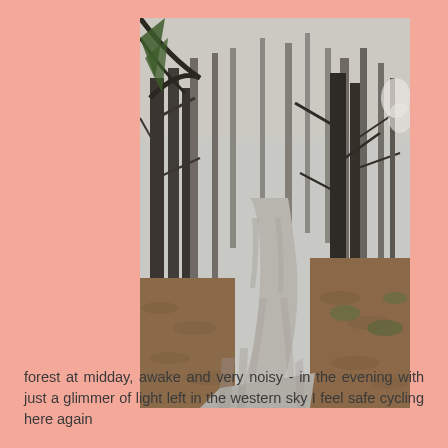[Figure (photo): A forest path or trail winding through bare deciduous trees in early spring. The narrow paved path curves into the distance, bordered by fallen brown leaves and a few patches of low green vegetation. Shadows of tree trunks fall across the path. The canopy is sparse with leafless branches.]
forest at midday, awake and very noisy - in the evening with just a glimmer of light left in the western sky I feel safe cycling here again